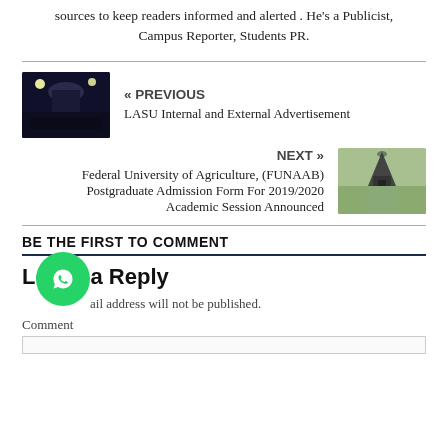sources to keep readers informed and alerted . He's a Publicist, Campus Reporter, Students PR.
« PREVIOUS
LASU Internal and External Advertisement
NEXT »
Federal University of Agriculture, (FUNAAB) Postgraduate Admission Form For 2019/2020 Academic Session Announced
BE THE FIRST TO COMMENT
Leave a Reply
ail address will not be published.
Comment